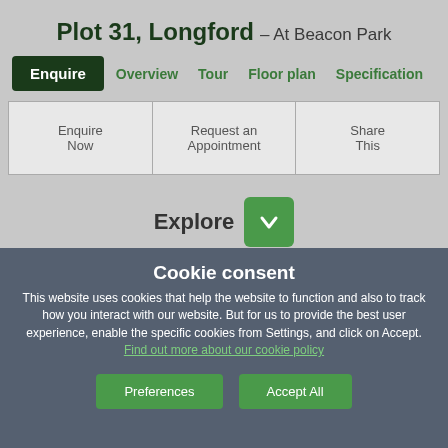Plot 31, Longford – At Beacon Park
Enquire | Overview | Tour | Floor plan | Specification
| Enquire Now | Request an Appointment | Share This |
Explore
Cookie consent
This website uses cookies that help the website to function and also to track how you interact with our website. But for us to provide the best user experience, enable the specific cookies from Settings, and click on Accept. Find out more about our cookie policy
Preferences | Accept All